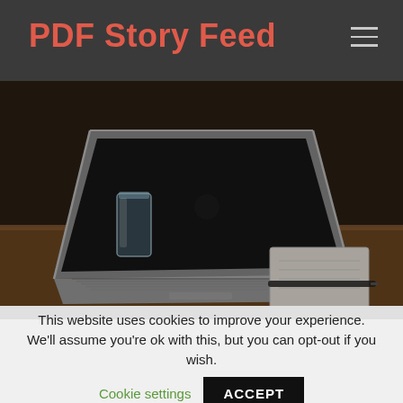PDF Story Feed
[Figure (photo): A laptop open on a wooden desk with a glass of water and a notebook with a pen beside it. Dark moody photography.]
This website uses cookies to improve your experience. We'll assume you're ok with this, but you can opt-out if you wish.
Cookie settings
ACCEPT